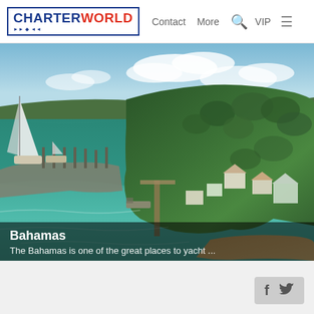CHARTERWORLD — Contact  More  VIP
[Figure (photo): Aerial photograph of a Bahamas island marina with turquoise water, sailboats docked at a pier, lush green tropical vegetation, and small waterfront buildings]
Bahamas
The Bahamas is one of the great places to yacht ...